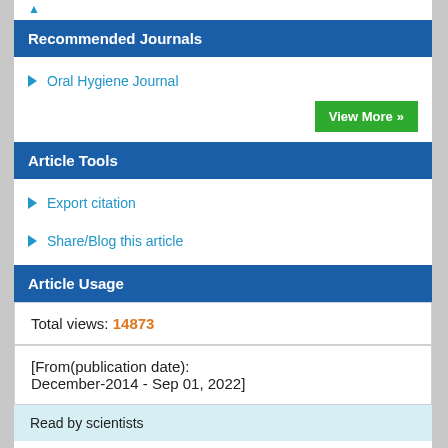Recommended Journals
Oral Hygiene Journal
View More »
Article Tools
Export citation
Share/Blog this article
Article Usage
Total views: 14873
[From(publication date): December-2014 - Sep 01, 2022]
Read by scientists